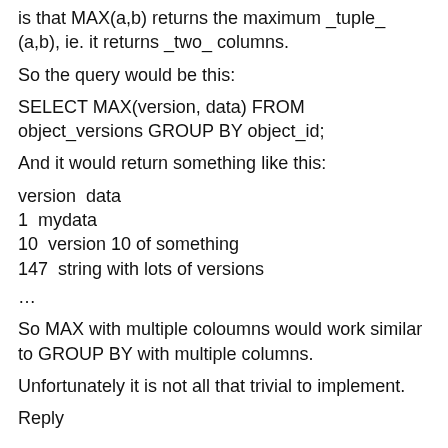is that MAX(a,b) returns the maximum _tuple_ (a,b), ie. it returns _two_ columns.
So the query would be this:
SELECT MAX(version, data) FROM object_versions GROUP BY object_id;
And it would return something like this:
version data
1 mydata
10 version 10 of something
147 string with lots of versions
…
So MAX with multiple coloumns would work similar to GROUP BY with multiple columns.
Unfortunately it is not all that trivial to implement.
Reply